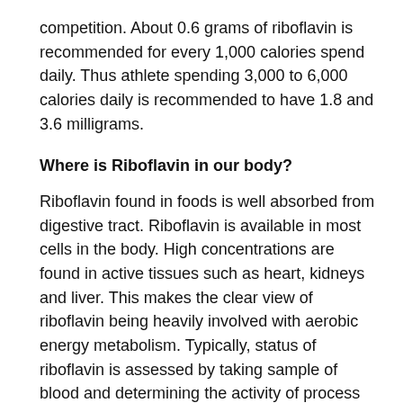competition. About 0.6 grams of riboflavin is recommended for every 1,000 calories spend daily. Thus athlete spending 3,000 to 6,000 calories daily is recommended to have 1.8 and 3.6 milligrams.
Where is Riboflavin in our body?
Riboflavin found in foods is well absorbed from digestive tract. Riboflavin is available in most cells in the body. High concentrations are found in active tissues such as heart, kidneys and liver. This makes the clear view of riboflavin being heavily involved with aerobic energy metabolism. Typically, status of riboflavin is assessed by taking sample of blood and determining the activity of process which requires riboflavin for efficient operation. Being water soluble, riboflavin is lost from body in urine which makes